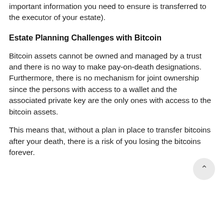important information you need to ensure is transferred to the executor of your estate).
Estate Planning Challenges with Bitcoin
Bitcoin assets cannot be owned and managed by a trust and there is no way to make pay-on-death designations. Furthermore, there is no mechanism for joint ownership since the persons with access to a wallet and the associated private key are the only ones with access to the bitcoin assets.
This means that, without a plan in place to transfer bitcoins after your death, there is a risk of you losing the bitcoins forever.